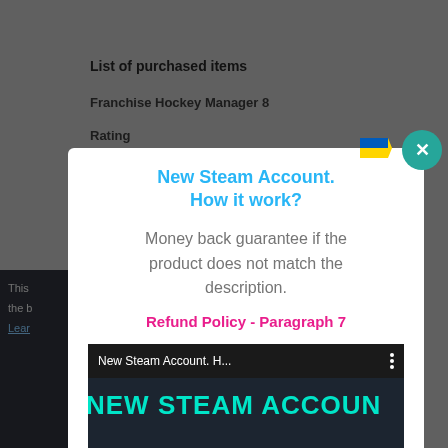List of purchased items
Franchise Hockey Manager 8
Rating
This ...
the b...
Learn...
New Steam Account. How it work?
Money back guarantee if the product does not match the description.
Refund Policy - Paragraph 7
[Figure (screenshot): Video thumbnail showing 'New Steam Account. H...' title bar with three-dot menu, and large teal/cyan text reading 'NEW STEAM ACCOUN' and partial text below on dark background]